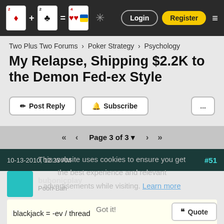Two Plus Two Forums header with logo, Login, Register buttons
Two Plus Two Forums › Poker Strategy › Psychology
My Relapse, Shipping $2.2K to the Demon Fed-ex Style
✏ Post Reply   🔔 Subscribe   ...
<< < Page 3 of 3 ▼ > >>
10-13-2010, 12:23 AM   #51
bubonicplay
Pooh-Bah
blackjack = -ev / thread
Got it!
Quote